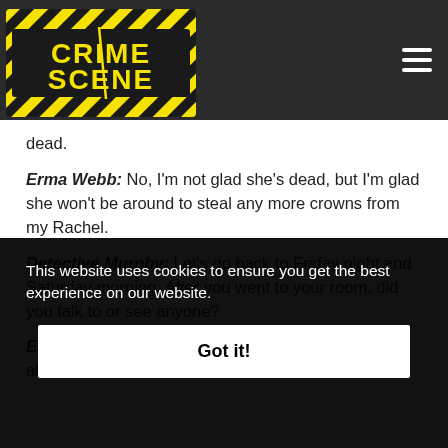CRIME SCENE
dead.
Erma Webb: No, I'm not glad she's dead, but I'm glad she won't be around to steal any more crowns from my Rachel.
Detective Murphy: Let's go back to Friday night and Saturday morning. After you went to your room, did you talk to or see anyone?
Erma Webb: Let's see. Yes, I went to Rachel's room about
This website uses cookies to ensure you get the best experience on our website.
Got it!